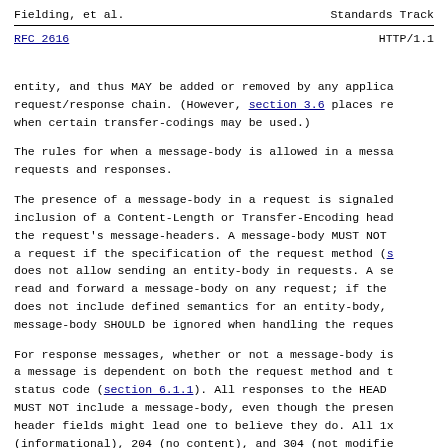Fielding, et al.    Standards Track
RFC 2616    HTTP/1.1
entity, and thus MAY be added or removed by any application in the request/response chain. (However, section 3.6 places restrictions on when certain transfer-codings may be used.)
The rules for when a message-body is allowed in a message differ for requests and responses.
The presence of a message-body in a request is signaled by the inclusion of a Content-Length or Transfer-Encoding header field in the request's message-headers. A message-body MUST NOT be included in a request if the specification of the request method (section) does not allow sending an entity-body in requests. A server SHOULD read and forward a message-body on any request; if the request method does not include defined semantics for an entity-body, then the message-body SHOULD be ignored when handling the request.
For response messages, whether or not a message-body is included with a message is dependent on both the request method and the response status code (section 6.1.1). All responses to the HEAD request method MUST NOT include a message-body, even though the presence of entity- header fields might lead one to believe they do. All 1xx (informational), 204 (no content), and 304 (not modified) responses MUST NOT include a message-body. All other responses do